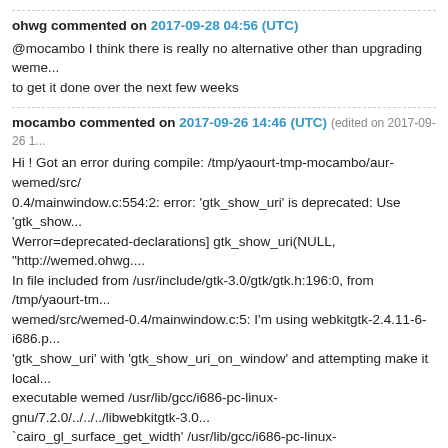ohwg commented on 2017-09-28 04:56 (UTC)
@mocambo I think there is really no alternative other than upgrading weme... to get it done over the next few weeks
mocambo commented on 2017-09-26 14:46 (UTC) (edited on 2017-09-26 1...)
Hi ! Got an error during compile: /tmp/yaourt-tmp-mocambo/aur-wemed/src/ 0.4/mainwindow.c:554:2: error: 'gtk_show_uri' is deprecated: Use 'gtk_show... Werror=deprecated-declarations] gtk_show_uri(NULL, "http://wemed.ohwg.... In file included from /usr/include/gtk-3.0/gtk/gtk.h:196:0, from /tmp/yaourt-tm... wemed/src/wemed-0.4/mainwindow.c:5: I'm using webkitgtk-2.4.11-6-i686.p... 'gtk_show_uri' with 'gtk_show_uri_on_window' and attempting make it local... executable wemed /usr/lib/gcc/i686-pc-linux-gnu/7.2.0/../../../libwebkitgtk-3.0... `cairo_gl_surface_get_width' /usr/lib/gcc/i686-pc-linux-gnu/7.2.0/../../../libwe... reference to `cairo_gl_surface_get_height' /usr/lib/gcc/i686-pc-linux-gnu/7.2... undefined reference to `cairo_gl_device_set_thread_aware' /usr/lib/gcc/i686... gnu/7.2.0/../../../libwebkitgtk-3.0.so: undefined reference to `cairo_egl_devic... linux-gnu/7.2.0/../../../libwebkitgtk-3.0.so: undefined reference to `cairo_gl_s... /usr/lib/gcc/i686-pc-linux-gnu/7.2.0/../../../libwebkitgtk-3.0.so: undefined refe... `cairo_glx_device_create' collect2: error: ld returned 1 exit status make[2]: *... [CMakeFiles/wemed.dir/build.make:277: wemed] Error 1 make[1]: *** [CMal... CMakeFiles/wemed.dir/all] Error 2 make: *** [Makefile:130: all] Error 2 Mayk... (older) version of webkitgtk ?
ohwg commented on 2016-07-29 08:44 (UTC)